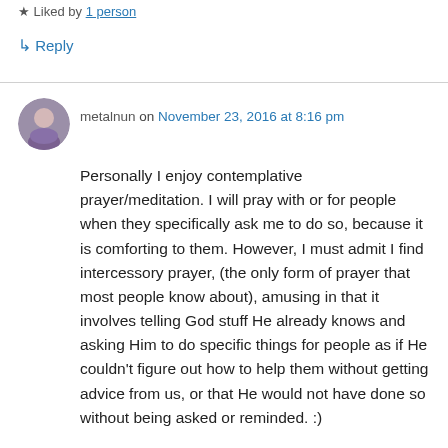Liked by 1 person
↳ Reply
metalnun on November 23, 2016 at 8:16 pm
Personally I enjoy contemplative prayer/meditation. I will pray with or for people when they specifically ask me to do so, because it is comforting to them. However, I must admit I find intercessory prayer, (the only form of prayer that most people know about), amusing in that it involves telling God stuff He already knows and asking Him to do specific things for people as if He couldn't figure out how to help them without getting advice from us, or that He would not have done so without being asked or reminded. :)